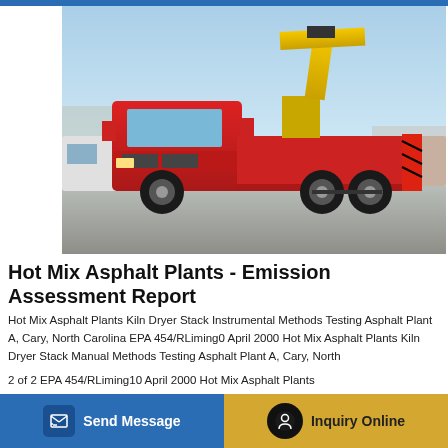[Figure (photo): A large red truck with a yellow crane/boom arm mounted on the flatbed, parked in an industrial yard. Other trucks and equipment visible in the background.]
Hot Mix Asphalt Plants - Emission Assessment Report
Hot Mix Asphalt Plants Kiln Dryer Stack Instrumental Methods Testing Asphalt Plant A, Cary, North Carolina EPA 454/RLiming0 April 2000 Hot Mix Asphalt Plants Kiln Dryer Stack Manual Methods Testing Asphalt Plant A, Cary, North
2 of 2 EPA 454/RLiming10 April 2000 Hot Mix Asphalt Plants